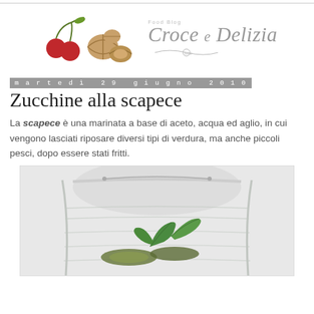[Figure (logo): Croce e Delizia food blog logo with cherries, walnuts, and script text]
martedì 29 giugno 2010
Zucchine alla scapece
La scapece è una marinata a base di aceto, acqua ed aglio, in cui vengono lasciati riposare diversi tipi di verdura, ma anche piccoli pesci, dopo essere stati fritti.
[Figure (photo): Photo of zucchine alla scapece in a glass jar with fresh mint/basil leaves]